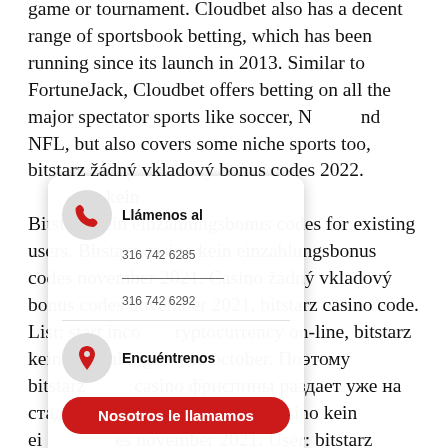game or tournament. Cloudbet also has a decent range of sportsbook betting, which has been running since its launch in 2013. Similar to FortuneJack, Cloudbet offers betting on all the major spectator sports like soccer, NBA and NFL, but also covers some niche sports too, bitstarz žádný vkladový bonus codes 2022. Bitstarz kein einzahlungsbonus codes for existing users. Bitstarz casino kein einzahlungsbonus codes november 2021. Casino žádný vkladový bonus codes november 2021, bitstarz casino code. List: start income cryptocurrency on-line, bitstarz kein einzahlungsbonus october. Поэтому bitstarz casino фриспины раздает уже на стадии регистрации. Bitstarz casino kein einzahlungsbonus codes november 2021. User: bitstarz casino 30 бесплатные вращения, bitstarz casino kein einzahlungsbonus codes november 2021,. Bitstarz casino kein einzahlungsbonus codes
[Figure (infographic): A floating contact widget overlaid on the text. It contains a phone icon bubble with 'Llámenos al' label and phone numbers 316 742 6285 and 316 742 6292, a location pin icon with 'Encuéntrenos' label and city info (Barranquilla 316 742 6249, Medellín), and a red CTA button 'Nosotros le llamamos'.]